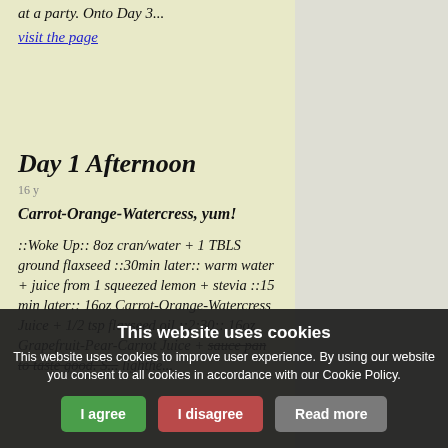at a party. Onto Day 3...
visit the page
Day 1 Afternoon
16 y
Carrot-Orange-Watercress, yum!
::Woke Up:: 8oz cran/water + 1 TBLS ground flaxseed ::30min later:: warm water + juice from 1 squeezed lemon + stevia ::15 min later:: 16oz Carrot-Orange-Watercress Juice + 1/2 tsp flaxseed oil ::2:30:: 16oz Grapefruit-Pear-Carrot Juice + ... sauce pan to taste good. S... lighthe...
This website uses cookies
This website uses cookies to improve user experience. By using our website you consent to all cookies in accordance with our Cookie Policy.
I agree    I disagree    Read more